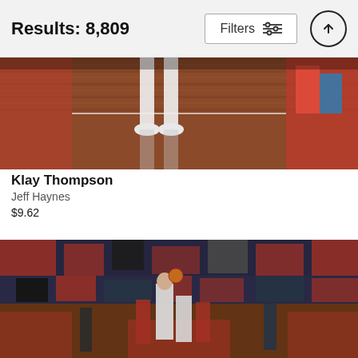Results: 8,809
[Figure (screenshot): Filters button with sliders icon and up-arrow circle button in header]
[Figure (photo): Basketball court photo showing player legs and court floor with red and wood tones]
Klay Thompson
Jeff Haynes
$9.62
[Figure (photo): NBA basketball game photo showing a player taking a shot surrounded by a large crowd of spectators in red and black attire]